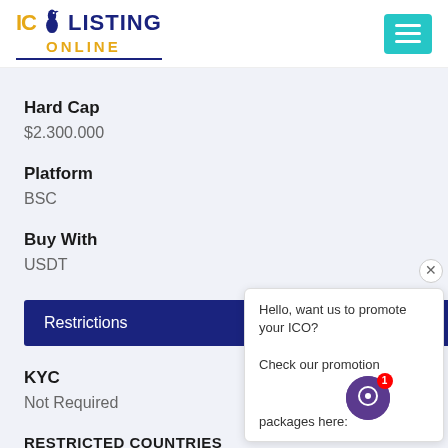[Figure (logo): ICO Listing Online logo with bird icon, 'ICO' in gold, 'LISTING' in dark blue, 'ONLINE' in gold below]
Hard Cap
$2.300.000
Platform
BSC
Buy With
USDT
Restrictions
KYC
Not Required
RESTRICTED COUNTRIES
Hello, want us to promote your ICO? Check our promotion packages here: